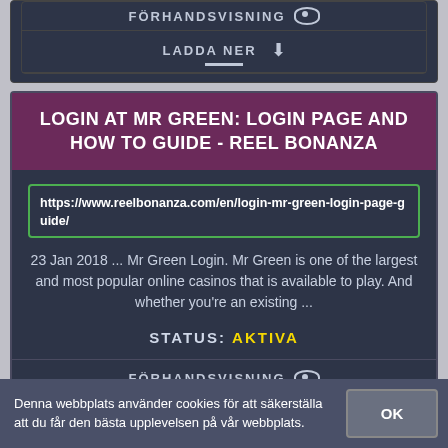FÖRHANDSVISNING
LADDA NER
LOGIN AT MR GREEN: LOGIN PAGE AND HOW TO GUIDE - REEL BONANZA
https://www.reelbonanza.com/en/login-mr-green-login-page-guide/
23 Jan 2018 ... Mr Green Login. Mr Green is one of the largest and most popular online casinos that is available to play. And whether you're an existing ...
STATUS: AKTIVA
FÖRHANDSVISNING
LADDA NER
Denna webbplats använder cookies för att säkerställa att du får den bästa upplevelsen på vår webbplats.